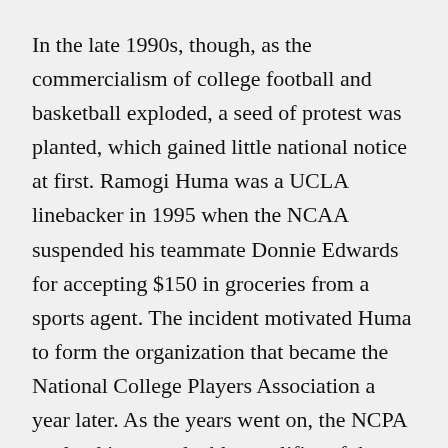In the late 1990s, though, as the commercialism of college football and basketball exploded, a seed of protest was planted, which gained little national notice at first. Ramogi Huma was a UCLA linebacker in 1995 when the NCAA suspended his teammate Donnie Edwards for accepting $150 in groceries from a sports agent. The incident motivated Huma to form the organization that became the National College Players Association a year later. As the years went on, the NCPA evolved into a valuable amplifier of the college athlete voice.
Athletes didn’t just start raising their voices this year; the current movement was a link in a chain of high-profile attempts to increase athlete empowerment over the past decade, among them